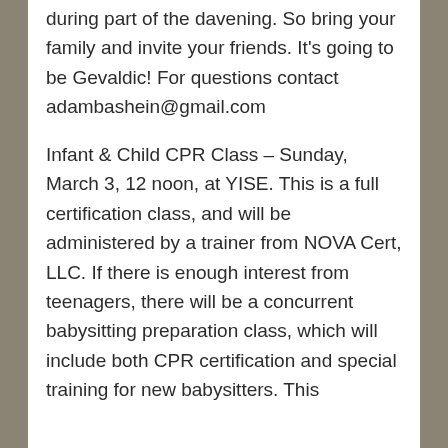during part of the davening. So bring your family and invite your friends. It's going to be Gevaldic! For questions contact adambashein@gmail.com
Infant & Child CPR Class – Sunday, March 3, 12 noon, at YISE. This is a full certification class, and will be administered by a trainer from NOVA Cert, LLC. If there is enough interest from teenagers, there will be a concurrent babysitting preparation class, which will include both CPR certification and special training for new babysitters. This